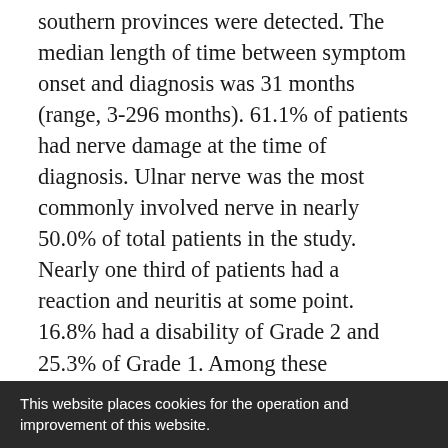southern provinces were detected. The median length of time between symptom onset and diagnosis was 31 months (range, 3-296 months). 61.1% of patients had nerve damage at the time of diagnosis. Ulnar nerve was the most commonly involved nerve in nearly 50.0% of total patients in the study. Nearly one third of patients had a reaction and neuritis at some point. 16.8% had a disability of Grade 2 and 25.3% of Grade 1. Among these deformities, leprosy deformities involving hand were 22(23.2%), feet were 30(31.6%), eye were 4(4.2%), respectively. A total of 76 patients have completed MDT treatment and none of them relapsed. 4 patients were loss to follow-up and 15 patients...
This website places cookies for the operation and improvement of this website.